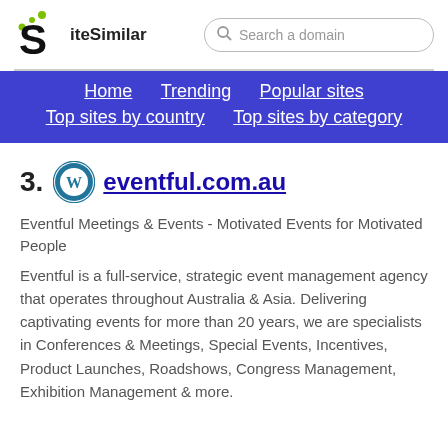SiteSimilar — Search a domain
Home | Trending | Popular sites | Top sites by country | Top sites by category
3. eventful.com.au
Eventful Meetings & Events - Motivated Events for Motivated People
Eventful is a full-service, strategic event management agency that operates throughout Australia & Asia. Delivering captivating events for more than 20 years, we are specialists in Conferences & Meetings, Special Events, Incentives, Product Launches, Roadshows, Congress Management, Exhibition Management & more.